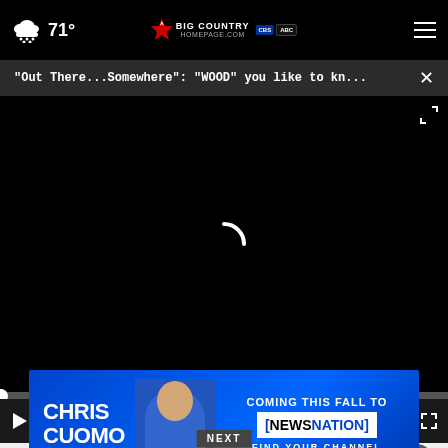71° Big Country Homepage - CBS ABC
"Out There...Somewhere": "WOOD" you like to kn... ×
[Figure (screenshot): Black video player area with loading spinner arc in center]
▶  🔇  00:00  ⊟  ⛶
Not concerned at all
Other / No opinion
[Figure (photo): Chris Cuomo advertisement banner - Coming This Fall to NewsNation - Find Your Channel]
NEXT